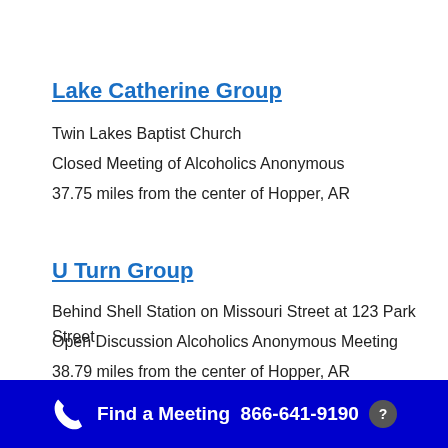Lake Catherine Group
Twin Lakes Baptist Church
Closed Meeting of Alcoholics Anonymous
37.75 miles from the center of Hopper, AR
U Turn Group
Behind Shell Station on Missouri Street at 123 Park Street
Open Discussion Alcoholics Anonymous Meeting
38.79 miles from the center of Hopper, AR
Find a Meeting  866-641-9190